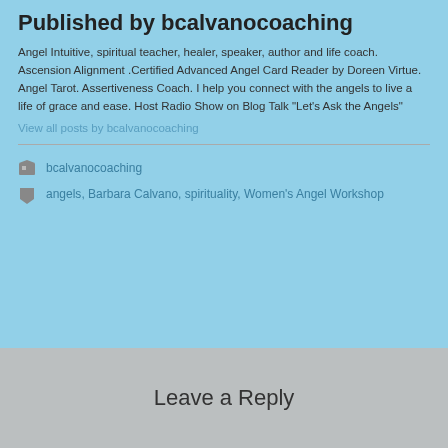Published by bcalvanocoaching
Angel Intuitive, spiritual teacher, healer, speaker, author and life coach. Ascension Alignment .Certified Advanced Angel Card Reader by Doreen Virtue. Angel Tarot. Assertiveness Coach. I help you connect with the angels to live a life of grace and ease. Host Radio Show on Blog Talk "Let's Ask the Angels"
View all posts by bcalvanocoaching
bcalvanocoaching
angels, Barbara Calvano, spirituality, Women's Angel Workshop
Leave a Reply